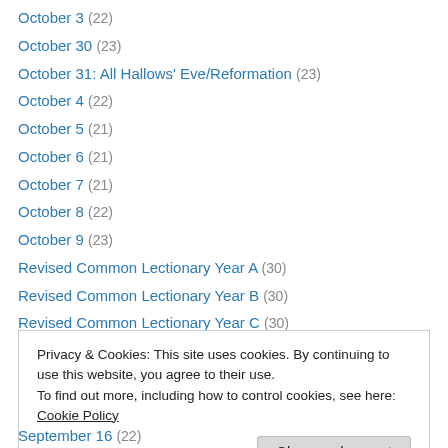October 3 (22)
October 30 (23)
October 31: All Hallows' Eve/Reformation (23)
October 4 (22)
October 5 (21)
October 6 (21)
October 7 (21)
October 8 (22)
October 9 (23)
Revised Common Lectionary Year A (30)
Revised Common Lectionary Year B (30)
Revised Common Lectionary Year C (30)
September 1 (21)
Privacy & Cookies: This site uses cookies. By continuing to use this website, you agree to their use. To find out more, including how to control cookies, see here: Cookie Policy
September 16 (22)